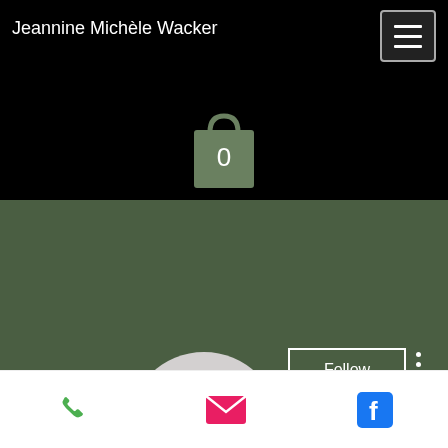Jeannine Michèle Wacker
[Figure (screenshot): Mobile app screenshot showing a user profile page with black top bar, green banner, avatar circle with T, Follow button, profile title 'Testosterone age 60, somatr...', 0 Followers • 0 Following, and bottom action bar with phone, email, and Facebook icons.]
Testosterone age 60, somatr...
0 Followers • 0 Following